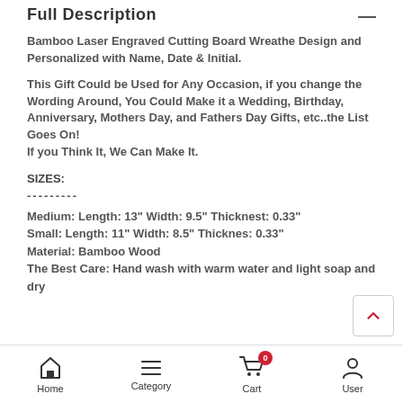Full Description
Bamboo Laser Engraved Cutting Board Wreathe Design and Personalized with Name, Date & Initial.
This Gift Could be Used for Any Occasion, if you change the Wording Around, You Could Make it a Wedding, Birthday, Anniversary, Mothers Day, and Fathers Day Gifts, etc..the List Goes On! If you Think It, We Can Make It.
SIZES:
---------
Medium: Length: 13" Width: 9.5" Thicknest: 0.33"
Small: Length: 11" Width: 8.5" Thicknes: 0.33"
Material: Bamboo Wood
The Best Care: Hand wash with warm water and light soap and dry
Home  Category  Cart  User